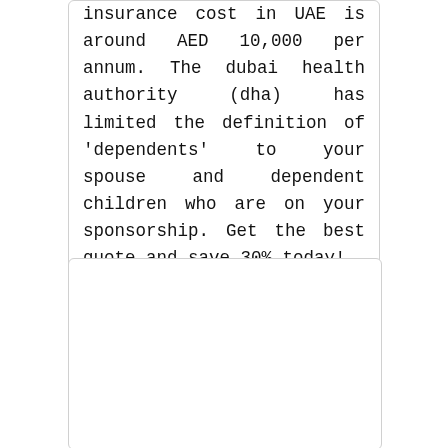insurance cost in UAE is around AED 10,000 per annum. The dubai health authority (dha) has limited the definition of 'dependents' to your spouse and dependent children who are on your sponsorship. Get the best quote and save 30% today!.
[Figure (other): Empty card/box placeholder region]